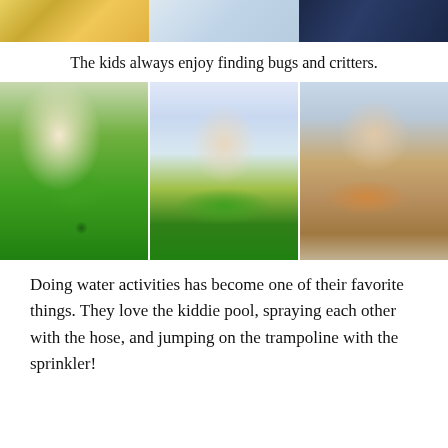[Figure (photo): Top strip showing partial photos of children outdoors, with colorful clothing visible]
The kids always enjoy finding bugs and critters.
[Figure (photo): Three photos side by side: left - a girl in green shirt looking at a green bug on her arm; center - a boy in green dinosaur t-shirt giving thumbs up and smiling; right - a toddler in orange shirt looking at something in his hands]
Doing water activities has become one of their favorite things. They love the kiddie pool, spraying each other with the hose, and jumping on the trampoline with the sprinkler!